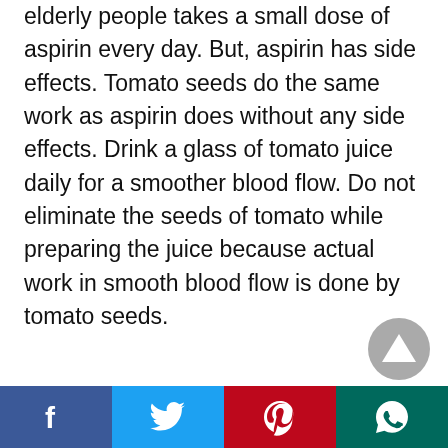elderly people takes a small dose of aspirin every day. But, aspirin has side effects. Tomato seeds do the same work as aspirin does without any side effects. Drink a glass of tomato juice daily for a smoother blood flow. Do not eliminate the seeds of tomato while preparing the juice because actual work in smooth blood flow is done by tomato seeds.
[Figure (other): Gray circular scroll-to-top button with an upward-pointing triangle arrow]
[Figure (other): Social media sharing bar with Facebook, Twitter, Pinterest, and WhatsApp buttons]